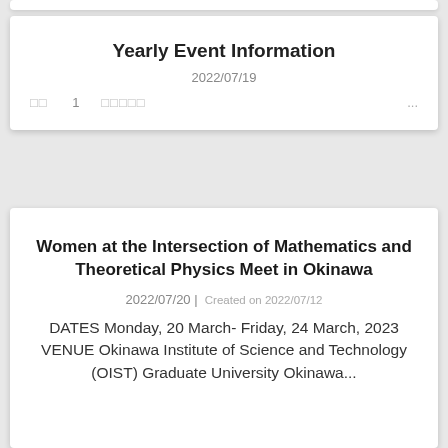Yearly Event Information
2022/07/19
□□  1  □□□□□  ...
Women at the Intersection of Mathematics and Theoretical Physics Meet in Okinawa
2022/07/20 | Created on 2022/07/12
DATES Monday, 20 March- Friday, 24 March, 2023 VENUE Okinawa Institute of Science and Technology (OIST) Graduate University Okinawa...